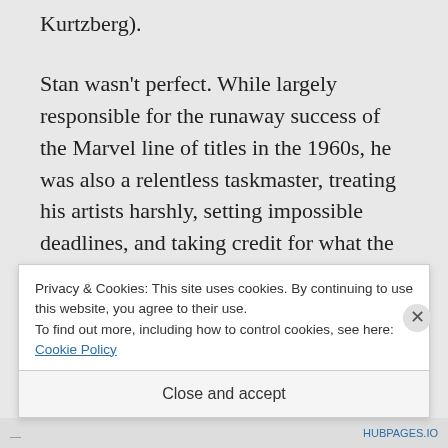Kurtzberg).
Stan wasn't perfect. While largely responsible for the runaway success of the Marvel line of titles in the 1960s, he was also a relentless taskmaster, treating his artists harshly, setting impossible deadlines, and taking credit for what the artists actually created, which many times was both visual, such
Privacy & Cookies: This site uses cookies. By continuing to use this website, you agree to their use.
To find out more, including how to control cookies, see here: Cookie Policy
Close and accept